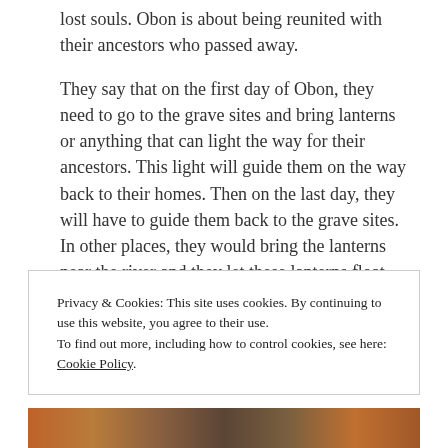lost souls. Obon is about being reunited with their ancestors who passed away.
They say that on the first day of Obon, they need to go to the grave sites and bring lanterns or anything that can light the way for their ancestors. This light will guide them on the way back to their homes. Then on the last day, they will have to guide them back to the grave sites. In other places, they would bring the lanterns near the river and they let these lanterns float away to guide their ancestors to the other world.
Privacy & Cookies: This site uses cookies. By continuing to use this website, you agree to their use.
To find out more, including how to control cookies, see here: Cookie Policy.
Close and accept
[Figure (photo): Bottom strip showing a partial photo of lanterns or lights in warm orange and brown tones]